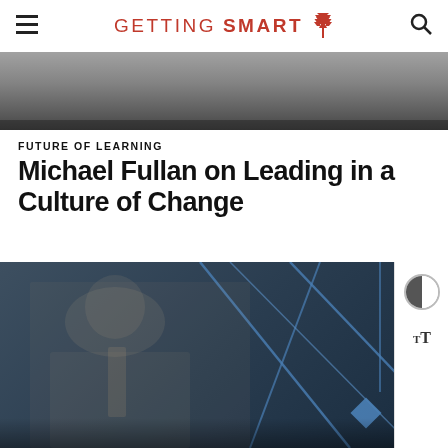GETTING SMART
[Figure (photo): Partial photo at top of page, person in background, cropped]
FUTURE OF LEARNING
Michael Fullan on Leading in a Culture of Change
[Figure (photo): Man in grey suit with gold tie speaking at an event, gesturing with both hands, blue geometric backdrop]